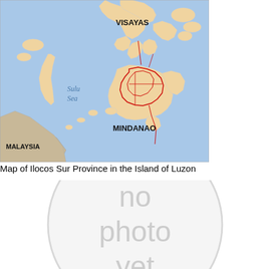[Figure (map): Map of the Philippines showing the island groups including Visayas and Mindanao, with Sulu Sea labeled, and Malaysia visible in the lower left. Red boundary lines highlight a region in Mindanao.]
Map of Ilocos Sur Province in the Island of Luzon
[Figure (illustration): Circular placeholder graphic with text 'no photo yet' in gray]